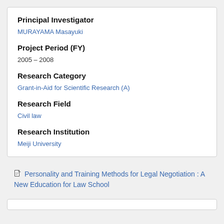Principal Investigator
MURAYAMA Masayuki
Project Period (FY)
2005 – 2008
Research Category
Grant-in-Aid for Scientific Research (A)
Research Field
Civil law
Research Institution
Meiji University
Personality and Training Methods for Legal Negotiation : A New Education for Law School